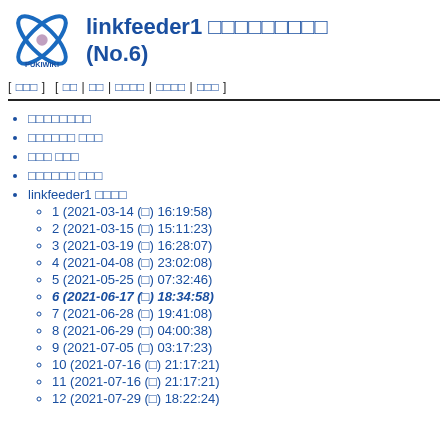linkfeeder1 □□□□□□□□□ (No.6)
[ □□□ ]  [ □□ | □□ | □□□□ | □□□□ | □□□ ]
□□□□□□□□
□□□□□□ □□□
□□□ □□□
□□□□□□ □□□
linkfeeder1 □□□□
1 (2021-03-14 (□) 16:19:58)
2 (2021-03-15 (□) 15:11:23)
3 (2021-03-19 (□) 16:28:07)
4 (2021-04-08 (□) 23:02:08)
5 (2021-05-25 (□) 07:32:46)
6 (2021-06-17 (□) 18:34:58)
7 (2021-06-28 (□) 19:41:08)
8 (2021-06-29 (□) 04:00:38)
9 (2021-07-05 (□) 03:17:23)
10 (2021-07-16 (□) 21:17:21)
11 (2021-07-16 (□) 21:17:21)
12 (2021-07-29 (□) 18:22:24)